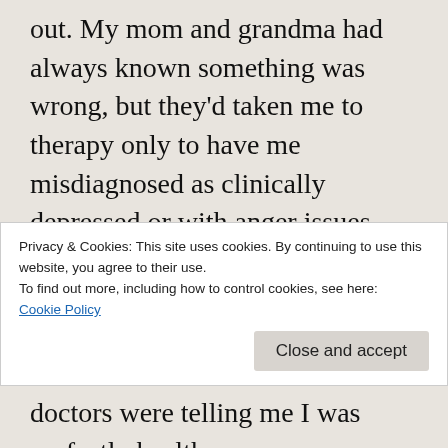out. My mom and grandma had always known something was wrong, but they'd taken me to therapy only to have me misdiagnosed as clinically depressed or with anger issues.

You know how you feel there's something wrong with you your entire life, but you just don't know what it is? No? Well, that's what I've felt like since I was a young kid. Is it cancer? Am I dying? Why do I feel so horrible and tired when I do everything right? Why do I
Privacy & Cookies: This site uses cookies. By continuing to use this website, you agree to their use.
To find out more, including how to control cookies, see here:
Cookie Policy
Close and accept
doctors were telling me I was perfectly healthy